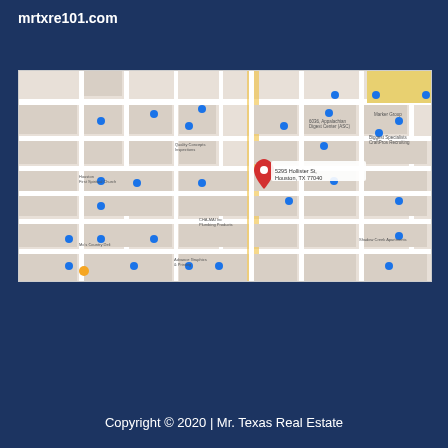mrtxre101.com
[Figure (map): Google Maps view showing the location of 5295 Hollister St, Houston, TX 77040, marked with a red pin. The map shows surrounding streets and business locations in the area.]
Copyright © 2020 | Mr. Texas Real Estate